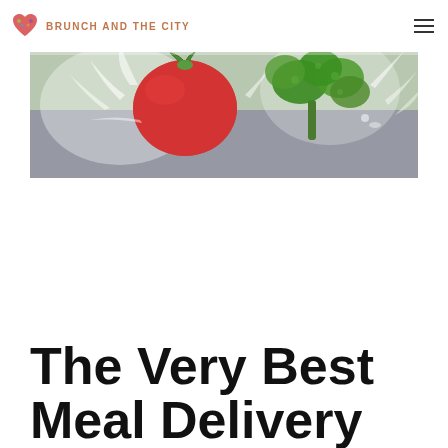BRUNCH AND THE CITY
[Figure (photo): Fresh vegetables including a red tomato and green parsley/herbs with water splashing around them on a surface]
The Very Best Meal Delivery